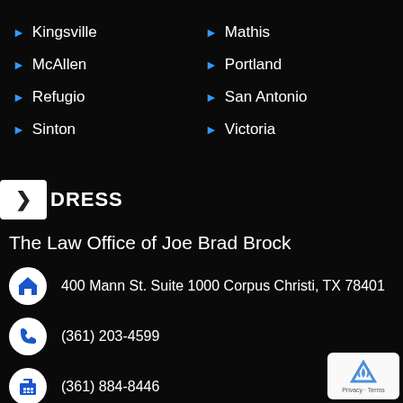Kingsville
Mathis
McAllen
Portland
Refugio
San Antonio
Sinton
Victoria
ADDRESS
The Law Office of Joe Brad Brock
400 Mann St. Suite 1000 Corpus Christi, TX 78401
(361) 203-4599
(361) 884-8446